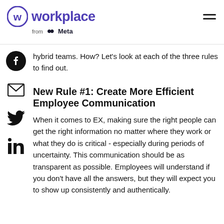workplace from Meta
hybrid teams. How? Let's look at each of the three rules to find out.
New Rule #1: Create More Efficient Employee Communication
When it comes to EX, making sure the right people can get the right information no matter where they work or what they do is critical - especially during periods of uncertainty. This communication should be as transparent as possible. Employees will understand if you don't have all the answers, but they will expect you to show up consistently and authentically.